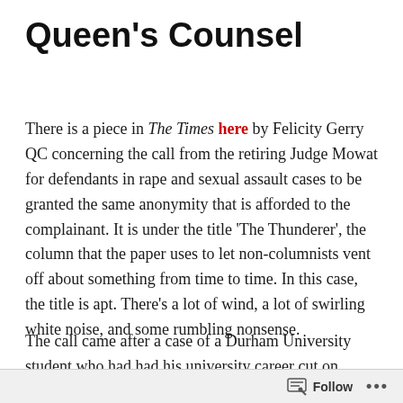Queen's Counsel
There is a piece in The Times here by Felicity Gerry QC concerning the call from the retiring Judge Mowat for defendants in rape and sexual assault cases to be granted the same anonymity that is afforded to the complainant. It is under the title 'The Thunderer', the column that the paper uses to let non-columnists vent off about something from time to time. In this case, the title is apt. There's a lot of wind, a lot of swirling white noise, and some rumbling nonsense.
The call came after a case of a Durham University student who had had his university career cut on
Follow ...